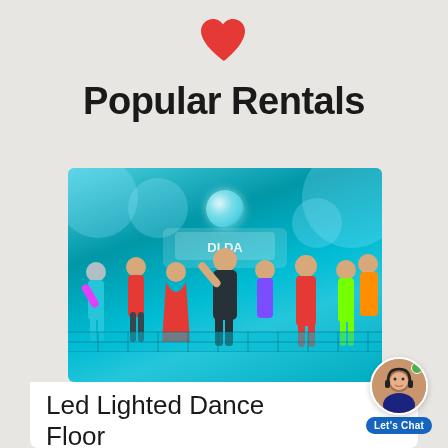[Figure (illustration): Red heart icon centered near top of page]
Popular Rentals
[Figure (photo): A group of performers in colorful costumes dancing on a lighted LED checkered dance floor with a blue stage background and disco ball overhead]
Led Lighted Dance Floor